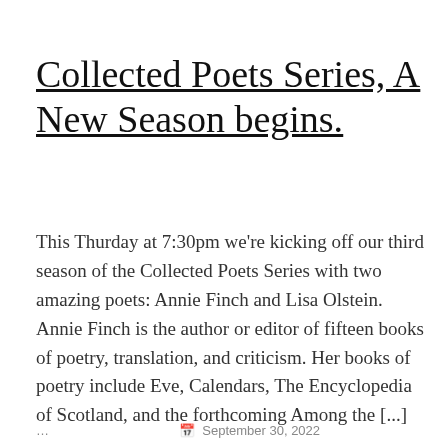Collected Poets Series, A New Season begins.
This Thurday at 7:30pm we're kicking off our third season of the Collected Poets Series with two amazing poets: Annie Finch and Lisa Olstein. Annie Finch is the author or editor of fifteen books of poetry, translation, and criticism. Her books of poetry include Eve, Calendars, The Encyclopedia of Scotland, and the forthcoming Among the [...]
… September 30, 2022